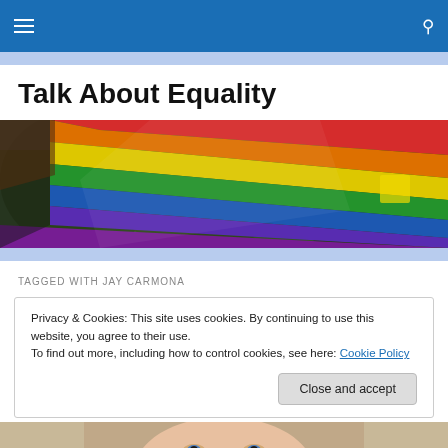Navigation bar with hamburger menu and search icon
Talk About Equality
[Figure (photo): Close-up photograph of a rainbow Pride flag waving against a background of green trees and a yellow sign. The flag shows bands of red, orange, yellow, green, blue, indigo, and violet.]
TAGGED WITH JAY CARMONA
Privacy & Cookies: This site uses cookies. By continuing to use this website, you agree to their use.
To find out more, including how to control cookies, see here: Cookie Policy
Close and accept
[Figure (photo): Partial view of a person's face, appearing to be a woman with light features, cropped at the bottom of the page.]